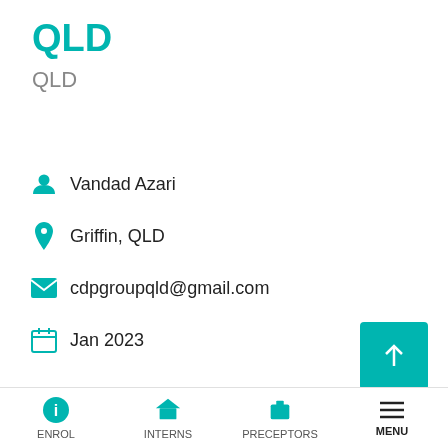QLD
QLD
Vandad Azari
Griffin, QLD
cdpgroupqld@gmail.com
Jan 2023
An intern pharmacist position is available at our independent community pharmacy in North Brisbane starting January 2023.
The successful candidate will learn all aspects of community pharmacy under the supervision of our approachable and friendly managers in a harmonious
ENROL  INTERNS  PRECEPTORS  MENU